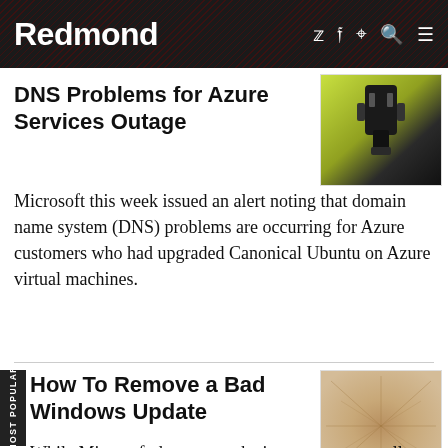Redmond
DNS Problems for Azure Services Outage
[Figure (photo): Close-up photo of a plug or connector against a green background]
Microsoft this week issued an alert noting that domain name system (DNS) problems are occurring for Azure customers who had upgraded Canonical Ubuntu on Azure virtual machines.
How To Remove a Bad Windows Update
[Figure (photo): Textured tan/beige surface with radial pattern, resembling old paper or bark]
While Microsoft does not make it easy, you can roll back a bad update (in certain situations).